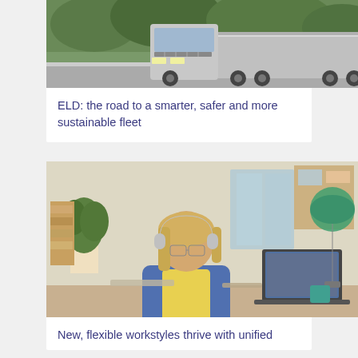[Figure (photo): Photo of a large semi-truck (eighteen-wheeler) driving on a highway surrounded by green trees]
ELD: the road to a smarter, safer and more sustainable fleet
[Figure (photo): Photo of a woman wearing headphones and glasses working at a desk with a laptop in a bright office/home workspace]
New, flexible workstyles thrive with unified